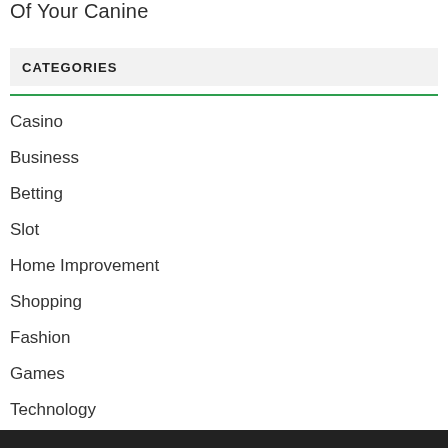Of Your Canine
CATEGORIES
Casino
Business
Betting
Slot
Home Improvement
Shopping
Fashion
Games
Technology